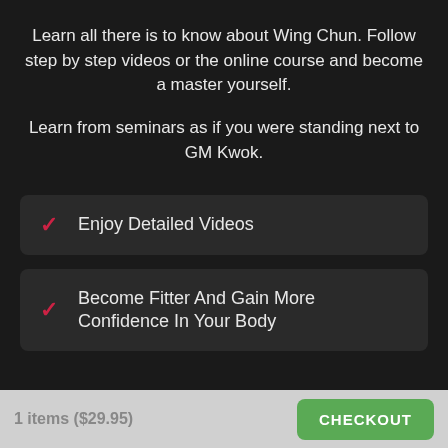Learn all there is to know about Wing Chun. Follow step by step videos or the online course and become a master yourself.
Learn from seminars as if you were standing next to GM Kwok.
Enjoy Detailed Videos
Become Fitter And Gain More Confidence In Your Body
1 items ($29.95)  CHECKOUT